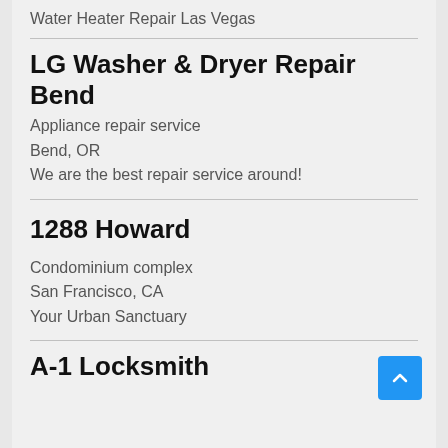Water Heater Repair Las Vegas
LG Washer & Dryer Repair Bend
Appliance repair service
Bend, OR
We are the best repair service around!
1288 Howard
Condominium complex
San Francisco, CA
Your Urban Sanctuary
A-1 Locksmith